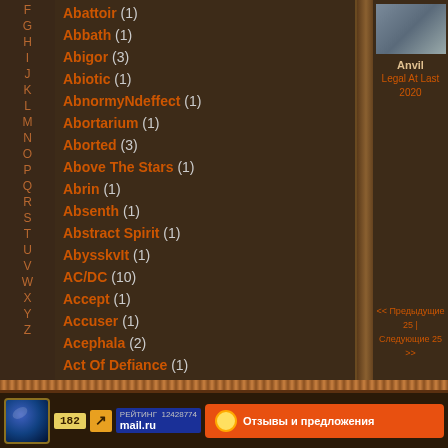F G H I J K L M N O P Q R S T U V W X Y Z
Abattoir (1)
Abbath (1)
Abigor (3)
Abiotic (1)
AbnormyNdeffect (1)
Abortarium (1)
Aborted (3)
Above The Stars (1)
Abrin (1)
Absenth (1)
Abstract Spirit (1)
AbysskvIt (1)
AC/DC (10)
Accept (1)
Accuser (1)
Acephala (2)
Act Of Defiance (1)
[Figure (photo): Album cover thumbnail for Anvil - Legal At Last 2020]
Anvil
Legal At Last
2020
<< Предыдущие 25 | Следующие 25 >>
[Figure (logo): Globe/network logo icon]
182
РЕЙТИНГ 12428774 mail.ru
Отзывы и предложения